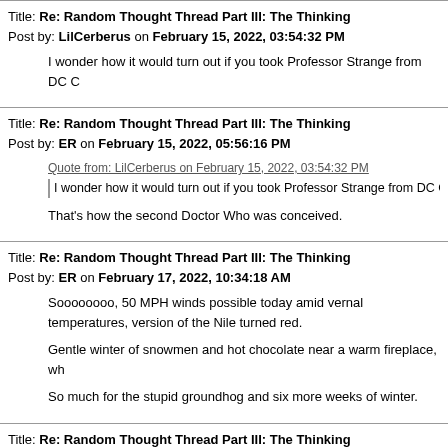Title: Re: Random Thought Thread Part III: The Thinking
Post by: LilCerberus on February 15, 2022, 03:54:32 PM
I wonder how it would turn out if you took Professor Strange from DC C
Title: Re: Random Thought Thread Part III: The Thinking
Post by: ER on February 15, 2022, 05:56:16 PM
Quote from: LilCerberus on February 15, 2022, 03:54:32 PM
I wonder how it would turn out if you took Professor Strange from DC Comics & Doctor Stra
That's how the second Doctor Who was conceived.
Title: Re: Random Thought Thread Part III: The Thinking
Post by: ER on February 17, 2022, 10:34:18 AM
Soooooooo, 50 MPH winds possible today amid vernal temperatures, version of the Nile turned red.

Gentle winter of snowmen and hot chocolate near a warm fireplace, wh

So much for the stupid groundhog and six more weeks of winter.
Title: Re: Random Thought Thread Part III: The Thinking
Post by: Alex on February 18, 2022, 02:33:15 PM